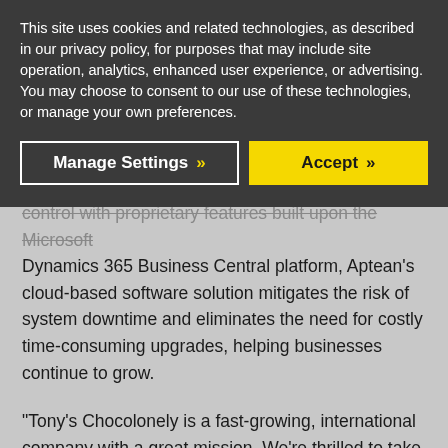This site uses cookies and related technologies, as described in our privacy policy, for purposes that may include site operation, analytics, enhanced user experience, or advertising. You may choose to consent to our use of these technologies, or manage your own preferences.
Manage Settings >> | Accept >>
control with proprietary features built upon the Microsoft Dynamics 365 Business Central platform, Aptean's cloud-based software solution mitigates the risk of system downtime and eliminates the need for costly time-consuming upgrades, helping businesses continue to grow.
“Tony’s Chocolonely is a fast-growing, international company with a great mission. We’re thrilled to take this first step in creating a long-term partnership,” said Duane George, Aptean’s General Manager, EMEA and APAC. “By implementing this software now, the team at Tony’s Chocolonely is poised to expand in-house production activities without compromising their exemplary standards, so they can continue inspiring others to join them in creating a slavery-free